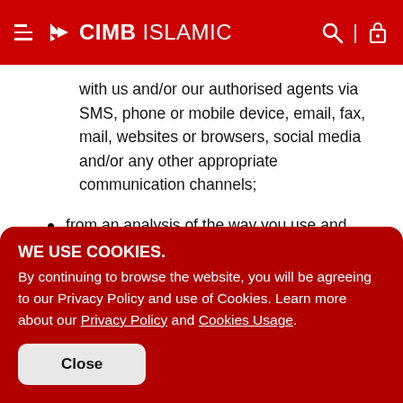CIMB ISLAMIC
with us and/or our authorised agents via SMS, phone or mobile device, email, fax, mail, websites or browsers, social media and/or any other appropriate communication channels;
from an analysis of the way you use and manage your account(s)/facility(ies) with us, from the transactions you make and from the payments which are made to/from your
WE USE COOKIES.
By continuing to browse the website, you will be agreeing to our Privacy Policy and use of Cookies. Learn more about our Privacy Policy and Cookies Usage.
Close